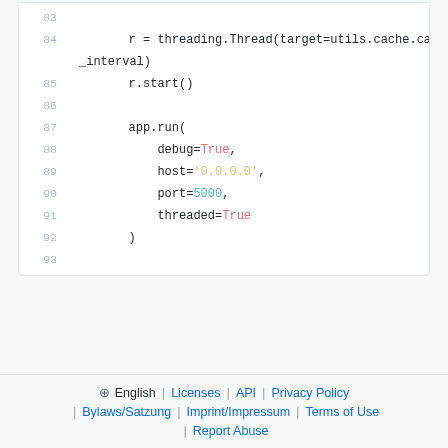[Figure (screenshot): Code snippet showing Python lines 83-93 with syntax highlighting: threading.Thread, r.start(), app.run() with debug=True, host='0.0.0.0', port=5000, threaded=True]
⊕ English | Licenses | API | Privacy Policy | Bylaws/Satzung | Imprint/Impressum | Terms of Use | Report Abuse